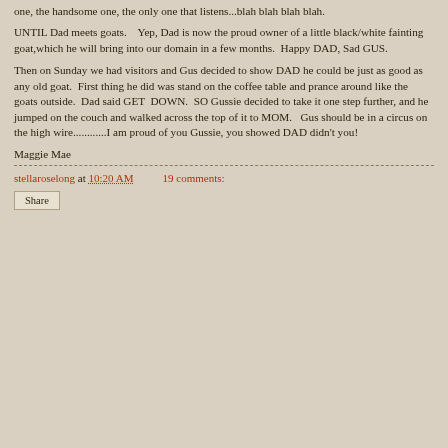one, the handsome one, the only one that listens...blah blah blah blah.
UNTIL Dad meets goats.    Yep, Dad is now the proud owner of a little black/white fainting goat,which he will bring into our domain in a few months.  Happy DAD, Sad GUS.
Then on Sunday we had visitors and Gus decided to show DAD he could be just as good as any old goat.  First thing he did was stand on the coffee table and prance around like the goats outside.  Dad said GET  DOWN.  SO Gussie decided to take it one step further, and he jumped on the couch and walked across the top of it to MOM.   Gus should be in a circus on the high wire............I am proud of you Gussie, you showed DAD didn't you!
Maggie Mae
stellaroselong at 10:20 AM    19 comments:
Share